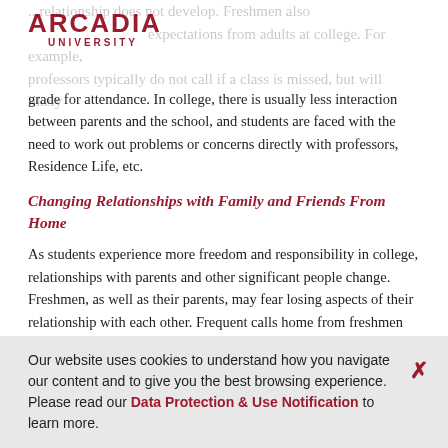[Figure (logo): Arcadia University logo with red text]
...relationship does not develop. Freshmen also face the expectations from adults at college. For example, professors typically do not call if a class is missed, but will likely grade for attendance. In college, there is usually less interaction between parents and the school, and students are faced with the need to work out problems or concerns directly with professors, Residence Life, etc.
Changing Relationships with Family and Friends From Home
As students experience more freedom and responsibility in college, relationships with parents and other significant people change. Freshmen, as well as their parents, may fear losing aspects of their relationship with each other. Frequent calls home from freshmen are common, especially during the first few months away at college. It may be very hard to say goodbye at the end of holiday or
Our website uses cookies to understand how you navigate our content and to give you the best browsing experience. Please read our Data Protection & Use Notification to learn more.